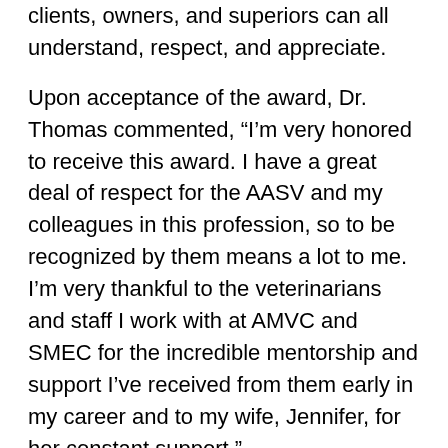clients, owners, and superiors can all understand, respect, and appreciate.
Upon acceptance of the award, Dr. Thomas commented, “I’m very honored to receive this award. I have a great deal of respect for the AASV and my colleagues in this profession, so to be recognized by them means a lot to me. I’m very thankful to the veterinarians and staff I work with at AMVC and SMEC for the incredible mentorship and support I’ve received from them early in my career and to my wife, Jennifer, for her constant support.”
His wife, Jennifer, says, “I am so proud of my husband. As his wife I know how dedicated he is to his profession, job, and clients. Paul always strives to do the maximum in whatever he is trying to achieve and